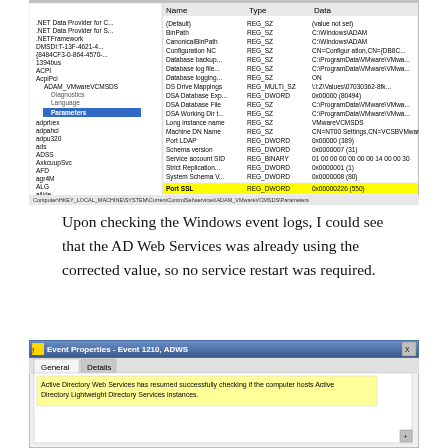[Figure (screenshot): Windows Registry Editor screenshot showing ADAM_VMwareVCMSDS Parameters keys, with 'Port SSL' entry highlighted in yellow showing REG_DWORD value 0x00000226 (550)]
Upon checking the Windows event logs, I could see that the AD Web Services was already using the corrected value, so no service restart was required.
[Figure (screenshot): Event Properties - Event 1210, ADWS dialog box showing General and Details tabs. Text reads: 'Active Directory Web Services has resumed successfully checking if the computer hosts Active Directory Lightweight Directory Services instances.']